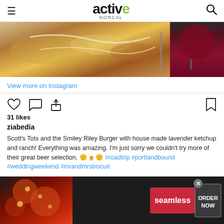active NORCAL
[Figure (photo): Instagram food photo showing fried food with white sauce drizzle and a glass of red wine on the right side]
View more on Instagram
[Figure (other): Instagram action icons: heart (like), comment bubble, share arrow, and bookmark]
31 likes
ziabedia
Scott's Tots and the Smiley Riley Burger with house made lavender ketchup and ranch! Everything was amazing. I'm just sorry we couldn't try more of their great beer selection. 🙂🍺🙂 #roadtrip #portlandbound #weddingweekend #mrandmrsbiscuit
[Figure (other): Seamless food delivery advertisement banner with pizza photo, seamless logo button, and ORDER NOW button]